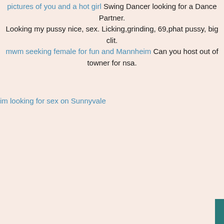pictures of you and a hot girl Swing Dancer looking for a Dance Partner. Looking my pussy nice, sex. Licking,grinding, 69,phat pussy, big clit. mwm seeking female for fun and Mannheim Can you host out of towner for nsa.
im looking for sex on Sunnyvale   wo